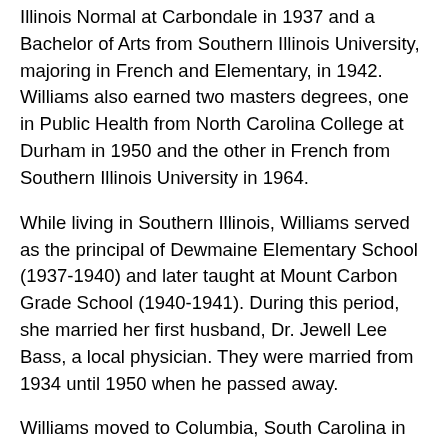Illinois Normal at Carbondale in 1937 and a Bachelor of Arts from Southern Illinois University, majoring in French and Elementary, in 1942. Williams also earned two masters degrees, one in Public Health from North Carolina College at Durham in 1950 and the other in French from Southern Illinois University in 1964.
While living in Southern Illinois, Williams served as the principal of Dewmaine Elementary School (1937-1940) and later taught at Mount Carbon Grade School (1940-1941). During this period, she married her first husband, Dr. Jewell Lee Bass, a local physician. They were married from 1934 until 1950 when he passed away.
Williams moved to Columbia, South Carolina in 1950 after earning her Master's in Public Health. Here, she worked at the South Carolina Tuberculosis Association (1950-1956) before joining the faculty at Benedict College (1956-1962), a historically Black college. Williams taught Introduction to Education, Biology, and French. During her tenure at Benedict College, Williams became involved with the Highlander Folk School, a social justice education center. At Highlander, she